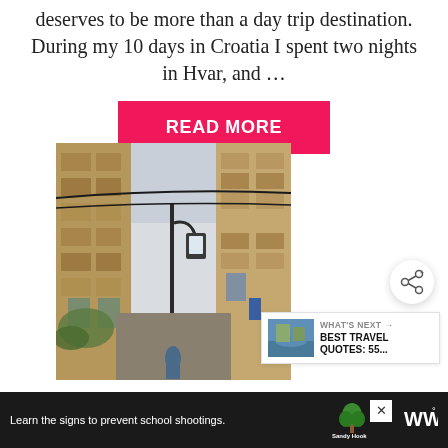deserves to be more than a day trip destination. During my 10 days in Croatia I spent two nights in Hvar, and …
READ MORE
[Figure (photo): Narrow stone street in a Croatian old town with a street lamp hanging overhead and old stone buildings on both sides]
[Figure (infographic): Share button (circular white button with share icon)]
[Figure (infographic): What's Next panel showing: BEST TRAVEL QUOTES: 55... with a small thumbnail of a coastal scene]
Learn the signs to prevent school shootings.
[Figure (logo): Sandy Hook Promise logo - green tree with 'Sandy Hook PROMISE' text]
[Figure (logo): WW logo with superscript degree symbol]